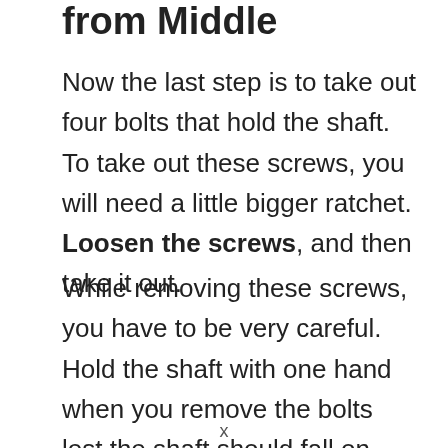from Middle
Now the last step is to take out four bolts that hold the shaft. To take out these screws, you will need a little bigger ratchet. Loosen the screws, and then take it out.
While removing these screws, you have to be very careful. Hold the shaft with one hand when you remove the bolts lest the shaft should fall on you.
x